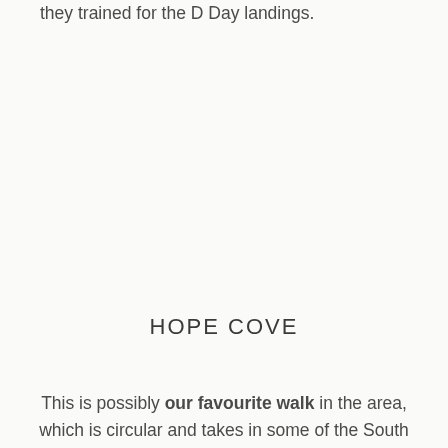they trained for the D Day landings.
HOPE COVE
This is possibly our favourite walk in the area, which is circular and takes in some of the South